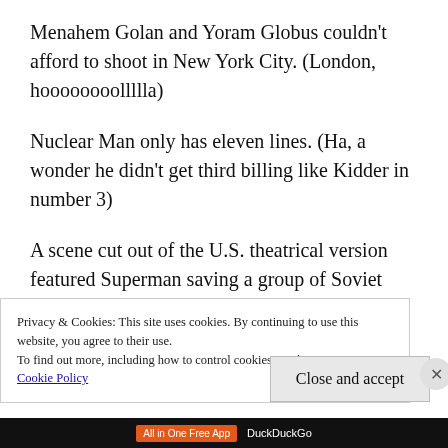Menahem Golan and Yoram Globus couldn't afford to shoot in New York City. (London, hoooooooollllla)
Nuclear Man only has eleven lines. (Ha, a wonder he didn't get third billing like Kidder in number 3)
A scene cut out of the U.S. theatrical version featured Superman saving a group of Soviet Generals from a nuclear missile in Moscow. The
Privacy & Cookies: This site uses cookies. By continuing to use this website, you agree to their use.
To find out more, including how to control cookies, see here:
Cookie Policy
Close and accept